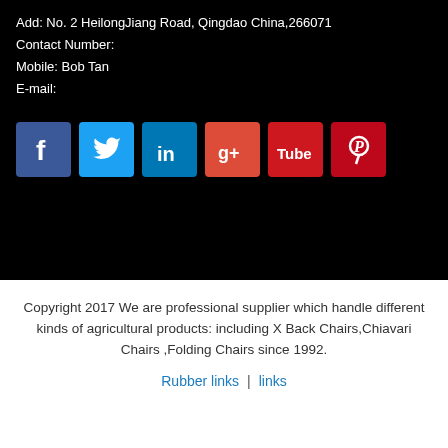Add: No. 2 HeilongJiang Road, Qingdao China,266071
Contact Number:
Mobile: Bob Tan
E-mail:
[Figure (illustration): Social media icon buttons: Facebook, Twitter, LinkedIn, Google+, YouTube (top row), Pinterest (bottom row)]
Copyright 2017 We are professional supplier which handle different kinds of agricultural products: including X Back Chairs,Chiavari Chairs ,Folding Chairs since 1992.
Rubber links  |  links